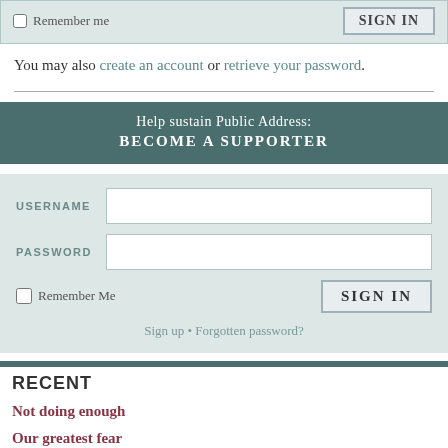[Figure (screenshot): Top login bar with Remember me checkbox and SIGN IN button]
You may also create an account or retrieve your password.
[Figure (infographic): Help sustain Public Address: BECOME A SUPPORTER banner in teal/dark green]
[Figure (screenshot): Login form with USERNAME and PASSWORD fields, Remember Me checkbox, SIGN IN button, Sign up and Forgotten password links]
RECENT
Not doing enough
Our greatest fear
It's about time
Field Theory Archive